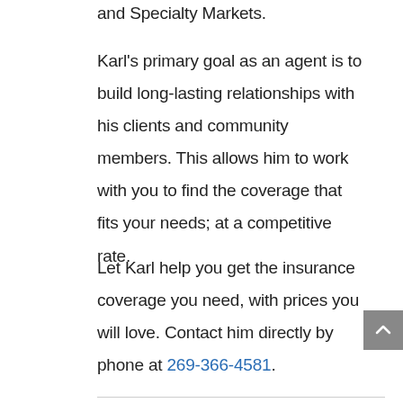and Specialty Markets.
Karl's primary goal as an agent is to build long-lasting relationships with his clients and community members. This allows him to work with you to find the coverage that fits your needs; at a competitive rate.
Let Karl help you get the insurance coverage you need, with prices you will love. Contact him directly by phone at 269-366-4581.